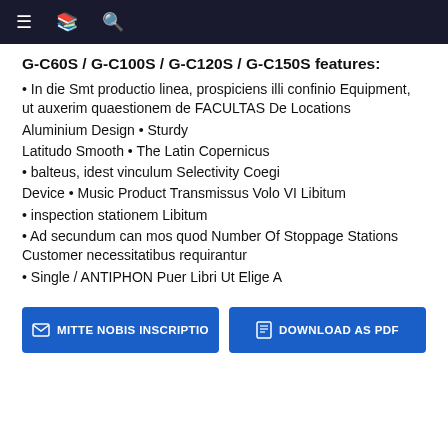Navigation bar with menu, document, and search icons
G-C60S / G-C100S / G-C120S / G-C150S features:
• In die Smt productio linea, prospiciens illi confinio Equipment, ut auxerim quaestionem de FACULTAS De Locations
Aluminium Design • Sturdy
Latitudo Smooth • The Latin Copernicus
• balteus, idest vinculum Selectivity Coegi
Device • Music Product Transmissus Volo VI Libitum
• inspection stationem Libitum
• Ad secundum can mos quod Number Of Stoppage Stations Customer necessitatibus requirantur
• Single / ANTIPHON Puer Libri Ut Elige A